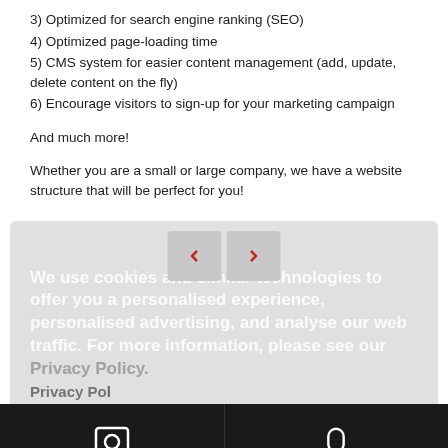3) Optimized for search engine ranking (SEO)
4) Optimized page-loading time
5) CMS system for easier content management (add, update, delete content on the fly)
6) Encourage visitors to sign-up for your marketing campaign
And much more!
Whether you are a small or large company, we have a website structure that will be perfect for you!
We use cookies and similar technologies to offer you a personalised experience, personalised advertising, and analyse our web traffic. For more information, please see our Privacy Policy. Privacy Po...
REGISTER NOW
BECOME A SPEAKER
Got It!